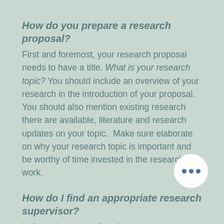How do you prepare a research proposal?
First and foremost, your research proposal needs to have a title. What is your research topic? You should include an overview of your research in the introduction of your proposal. You should also mention existing research there are available, literature and research updates on your topic.  Make sure elaborate on why your research topic is important and be worthy of time invested in the research work.
How do I find an appropriate research supervisor?
Universities have a list of supervisors on their credentials on their websites. You